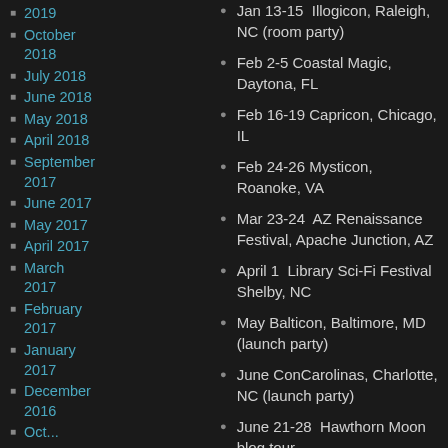2019
October 2018
July 2018
June 2018
May 2018
April 2018
September 2017
June 2017
May 2017
April 2017
March 2017
February 2017
January 2017
December 2016
Jan 13-15  Illogicon, Raleigh, NC (room party)
Feb 2-5 Coastal Magic, Daytona, FL
Feb 16-19 Capricon, Chicago, IL
Feb 24-26 Mysticon, Roanoke, VA
Mar 23-24  AZ Renaissance Festival, Apache Junction, AZ
April 1  Library Sci-Fi Festival Shelby, NC
May Balticon, Baltimore, MD (launch party)
June ConCarolinas, Charlotte, NC (launch party)
June 21-28  Hawthorn Moon blog tour
June Mo FB launch...